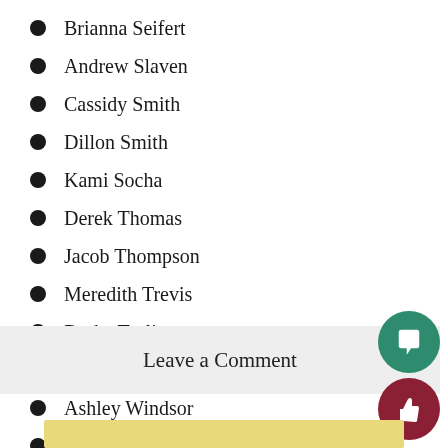Brianna Seifert
Andrew Slaven
Cassidy Smith
Dillon Smith
Kami Socha
Derek Thomas
Jacob Thompson
Meredith Trevis
Drake Trolio
Kristina Tufaro
Ashley Windsor
Olivia Zura
Leave a Comment